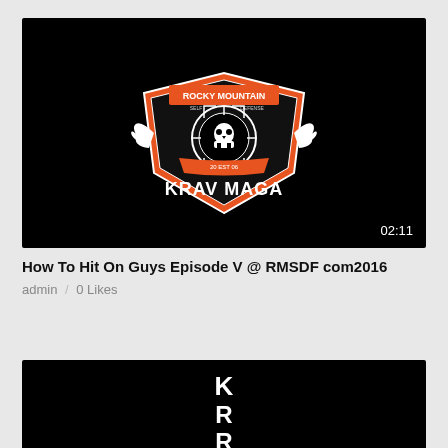[Figure (screenshot): Video thumbnail with black background showing Rocky Mountain Krav Maga logo — a shield with wings, skull in crosshair, orange and white design, text 'ROCKY MOUNTAIN' and 'KRAV MAGA', established 2006. Duration overlay shows 02:11.]
How To Hit On Guys Episode V @ RMSDF com2016
admin  /  0 Likes
[Figure (screenshot): Partial video thumbnail with black background showing white text/logo letters partially visible, beginning of next video card.]